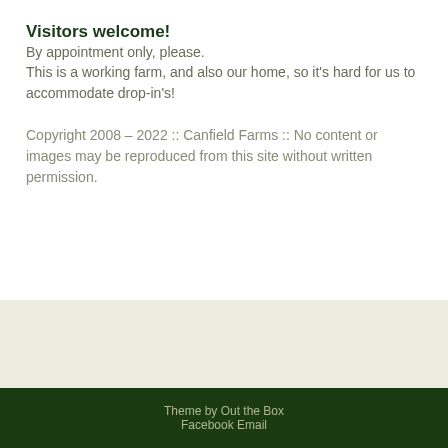Visitors welcome!
By appointment only, please.
This is a working farm, and also our home, so it's hard for us to accommodate drop-in's!
Copyright 2008 – 2022 :: Canfield Farms :: No content or images may be reproduced from this site without written permission.
Theme by Out the Box
Facebook Email